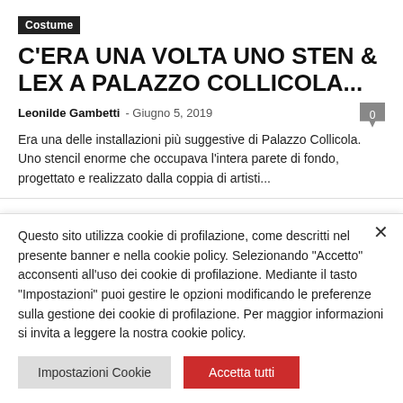Costume
C'ERA UNA VOLTA UNO STEN & LEX A PALAZZO COLLICOLA...
Leonilde Gambetti - Giugno 5, 2019
Era una delle installazioni più suggestive di Palazzo Collicola. Uno stencil enorme che occupava l'intera parete di fondo, progettato e realizzato dalla coppia di artisti...
Questo sito utilizza cookie di profilazione, come descritti nel presente banner e nella cookie policy. Selezionando "Accetto" acconsenti all'uso dei cookie di profilazione. Mediante il tasto "Impostazioni" puoi gestire le opzioni modificando le preferenze sulla gestione dei cookie di profilazione. Per maggior informazioni si invita a leggere la nostra cookie policy.
Impostazioni Cookie | Accetta tutti